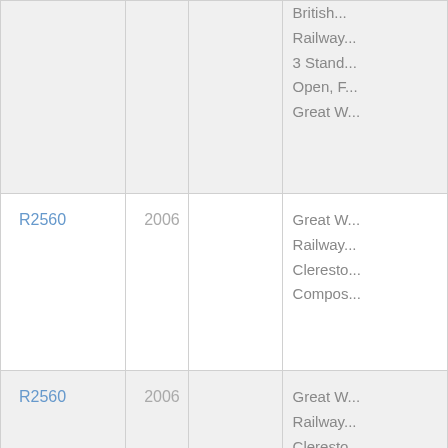| ID | Year |  | Description |
| --- | --- | --- | --- |
| R2560 (partial) | 2006 (partial) |  | British... Railway... 3 Stand... Open, F... Great W... |
| R2560 | 2006 |  | Great W... Railway... Cleresto... Compos... |
| R2560 | 2006 |  | Great W... Railway... Cleresto... Compos... |
| R2560 | 2006 |  | Great W... Railway... Cleresto... |